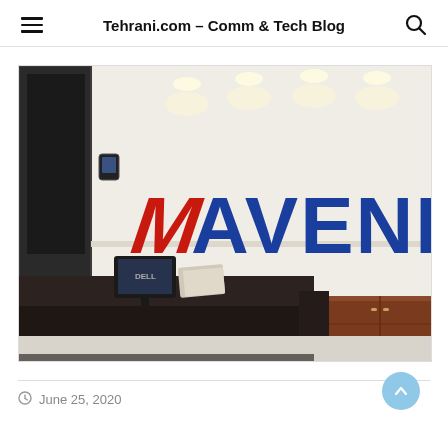Tehrani.com – Comm & Tech Blog
[Figure (photo): Office reception area with a dark reception desk in the foreground and a large Mavenir logo (red and blue lettering) mounted on a white wall in the background, with recessed ceiling lights.]
June 25, 2020